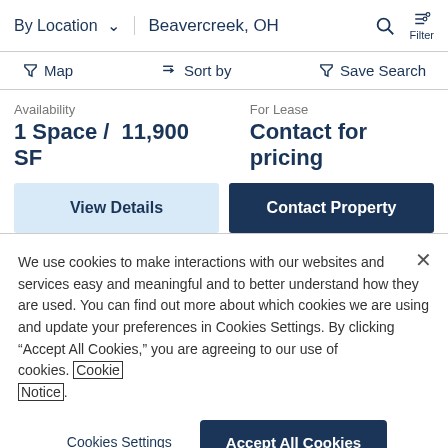By Location  Beavercreek, OH  Filter
Map  Sort by  Save Search
Availability
1 Space /  11,900 SF
For Lease
Contact for pricing
View Details  Contact Property
We use cookies to make interactions with our websites and services easy and meaningful and to better understand how they are used. You can find out more about which cookies we are using and update your preferences in Cookies Settings. By clicking “Accept All Cookies,” you are agreeing to our use of cookies. Cookie Notice.
Cookies Settings  Accept All Cookies